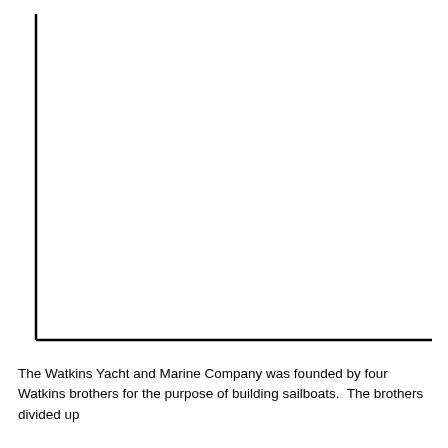[Figure (other): A blank chart area with an L-shaped axis frame (left vertical line and bottom horizontal line), no data plotted, no labels or tick marks visible.]
The Watkins Yacht and Marine Company was founded by four Watkins brothers for the purpose of building sailboats.  The brothers divided up